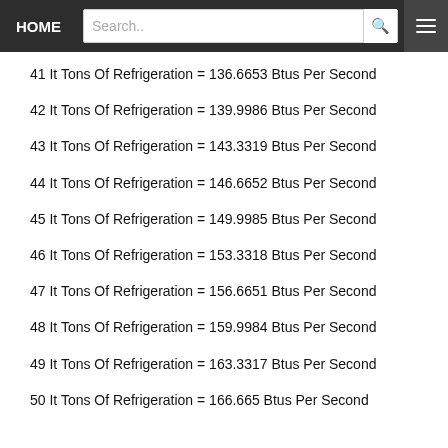HOME | Search..
41 It Tons Of Refrigeration = 136.6653 Btus Per Second
42 It Tons Of Refrigeration = 139.9986 Btus Per Second
43 It Tons Of Refrigeration = 143.3319 Btus Per Second
44 It Tons Of Refrigeration = 146.6652 Btus Per Second
45 It Tons Of Refrigeration = 149.9985 Btus Per Second
46 It Tons Of Refrigeration = 153.3318 Btus Per Second
47 It Tons Of Refrigeration = 156.6651 Btus Per Second
48 It Tons Of Refrigeration = 159.9984 Btus Per Second
49 It Tons Of Refrigeration = 163.3317 Btus Per Second
50 It Tons Of Refrigeration = 166.665 Btus Per Second